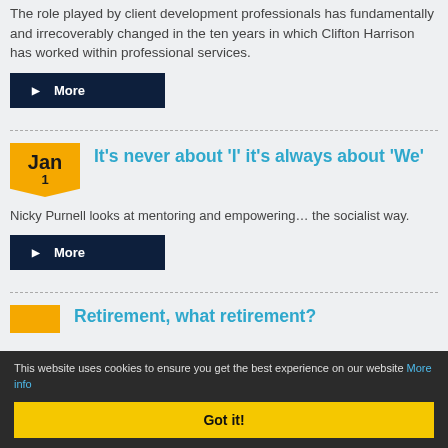The role played by client development professionals has fundamentally and irrecoverably changed in the ten years in which Clifton Harrison has worked within professional services.
More
It’s never about ‘I’ it’s always about ‘We’
Nicky Purnell looks at mentoring and empowering… the socialist way.
More
Retirement, what retirement?
This website uses cookies to ensure you get the best experience on our website More info
Got it!